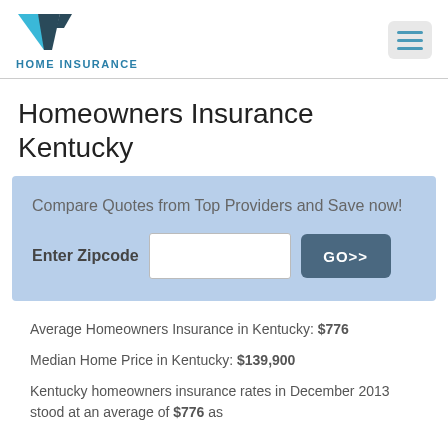HOME INSURANCE
Homeowners Insurance Kentucky
Compare Quotes from Top Providers and Save now!
Enter Zipcode  GO>>
Average Homeowners Insurance in Kentucky: $776
Median Home Price in Kentucky: $139,900
Kentucky homeowners insurance rates in December 2013 stood at an average of $776 as